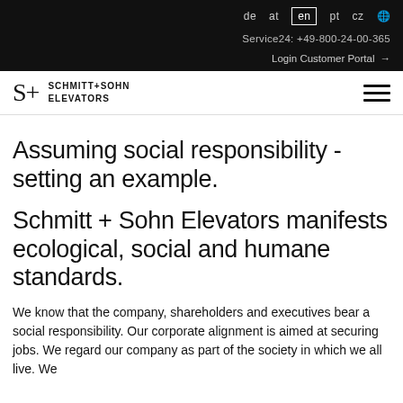de  at  en  pt  cz  🌐
Service24: +49-800-24-00-365
Login Customer Portal →
[Figure (logo): Schmitt + Sohn Elevators logo: S+ symbol and text SCHMITT+SOHN ELEVATORS]
Assuming social responsibility - setting an example.
Schmitt + Sohn Elevators manifests ecological, social and humane standards.
We know that the company, shareholders and executives bear a social responsibility. Our corporate alignment is aimed at securing jobs. We regard our company as part of the society in which we all live. We